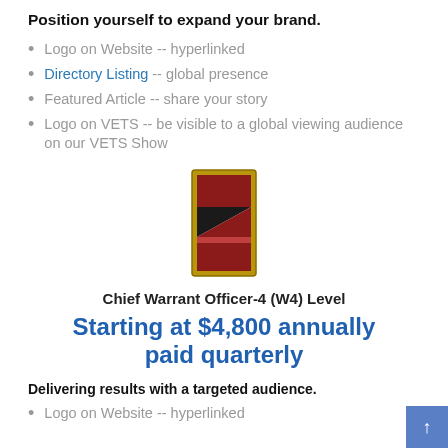Position yourself to expand your brand.
Logo on Website -- hyperlinked
Directory Listing -- global presence
Featured Article -- share your story
Logo on VETS -- be visible to a global viewing audience on our VETS Show
[Figure (photo): Chief Warrant Officer-4 rank insignia badge — vertical rectangle with gold border, containing red and black/white geometric segments]
Chief Warrant Officer-4 (W4) Level
Starting at $4,800 annually paid quarterly
Delivering results with a targeted audience.
Logo on Website -- hyperlinked